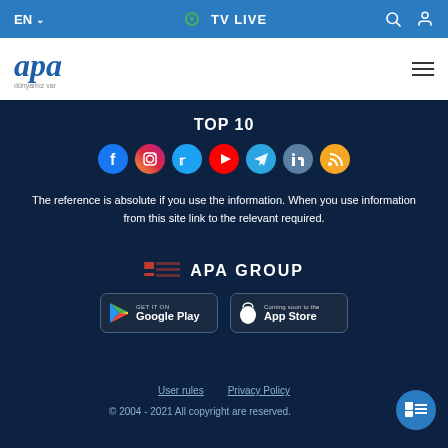EN  TV LIVE
[Figure (logo): APA news agency logo with italic text 'apa' in blue and tagline 'dünyamız var']
TOP 10
[Figure (infographic): Row of 7 social media icon circles: Facebook (blue), Instagram (pink/red gradient), Twitter (light blue), YouTube (red), Telegram (blue), LinkedIn (teal/grey), RSS (orange)]
The reference is absolute if you use the information. When you use information from this site link to the relevant required.
[Figure (logo): APA GROUP logo with red/dark bar icon on left and bold white text 'APA GROUP']
[Figure (infographic): Two app store download buttons: 'GET IT ON Google Play' and 'Coming soon to the App Store']
User rules   Privacy Policy
© 2004 - 2021 All copyright are reserved.